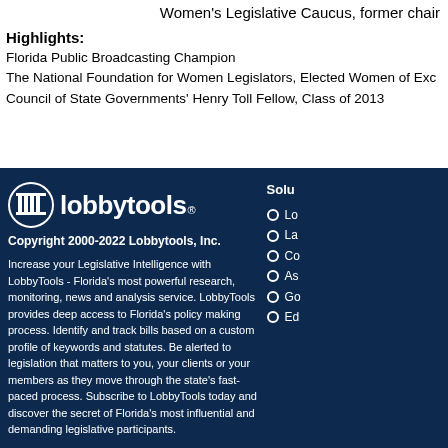Women's Legislative Caucus, former chair
Highlights:
Florida Public Broadcasting Champion
The National Foundation for Women Legislators, Elected Women of Excellence
Council of State Governments' Henry Toll Fellow, Class of 2013
[Figure (logo): LobbyTools logo with column/capitol icon and lobbytools wordmark]
Copyright 2000-2022 Lobbytools, Inc.
Increase your Legislative Intelligence with LobbyTools - Florida's most powerful research, monitoring, news and analysis service. LobbyTools provides deep access to Florida's policy making process. Identify and track bills based on a custom profile of keywords and statutes. Be alerted to legislation that matters to you, your clients or your members as they move through the state's fast-paced process. Subscribe to LobbyTools today and discover the secret of Florida's most influential and demanding legislative participants.
Solutions
Lo...
La...
Co...
As...
Go...
Ed...